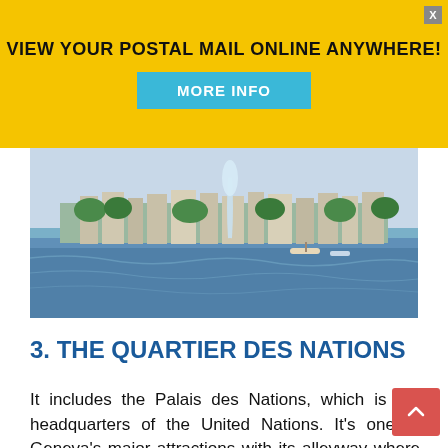[Figure (infographic): Yellow advertisement banner reading 'VIEW YOUR POSTAL MAIL ONLINE ANYWHERE!' with a teal 'MORE INFO' button and a close X button in the top right corner.]
[Figure (photo): Panoramic photograph of Geneva lakefront with water jets, boats, buildings, and trees.]
3. THE QUARTIER DES NATIONS
It includes the Palais des Nations, which is the headquarters of the United Nations. It's one of Geneva's major attractions with its alleyway where the flags of all countries. After New York, it's now the second largest UN headquarters. The place can only be visited with a guide on reservation (about an hour of visit) and allows you to discover beautiful conference rooms. Just opposite is the impressive sculpture of the